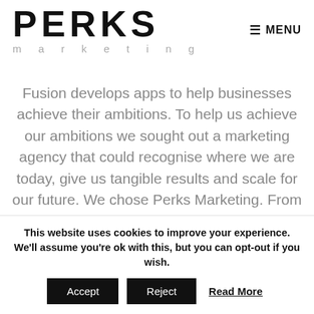PERKS marketing — MENU
Fusion develops apps to help businesses achieve their ambitions. To help us achieve our ambitions we sought out a marketing agency that could recognise where we are today, give us tangible results and scale for our future. We chose Perks Marketing. From the outset it was clear PM was able to bring real business understanding to our marketing
This website uses cookies to improve your experience. We'll assume you're ok with this, but you can opt-out if you wish. Accept Reject Read More